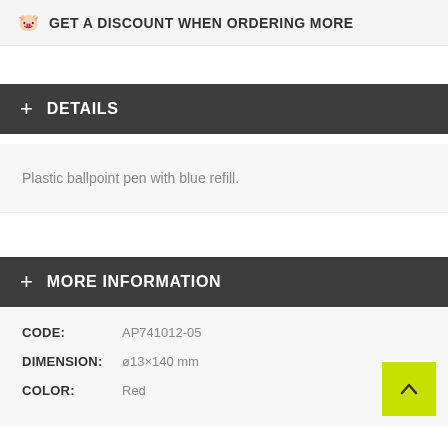GET A DISCOUNT WHEN ORDERING MORE
+ DETAILS
Plastic ballpoint pen with blue refill.
+ MORE INFORMATION
| CODE: | AP741012-05 |
| DIMENSION: | ø13×140 mm |
| COLOR: | Red |